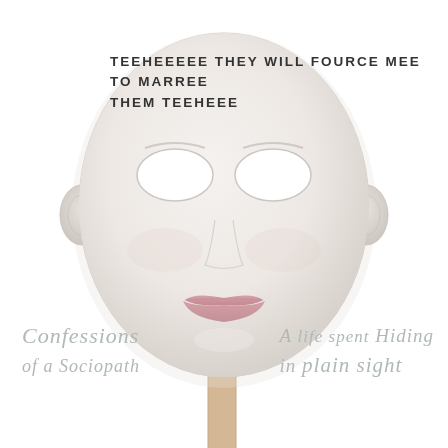TEEHEEEEE THEY WILL FOURCE MEE TO MARREE THEM TEEHEEE
[Figure (illustration): A white face mask on a stick (masquerade/theatre style) with blank white eye holes, a nose, ears, and pink lips, held up against a white background. The mask is feminine and stylized.]
Confessions of a Sociopath | A Life Spent Hiding in Plain Sight